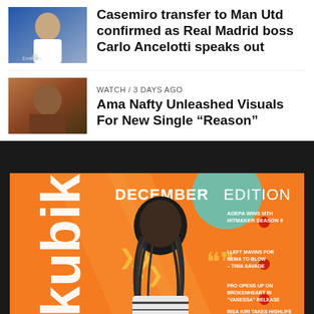[Figure (photo): Casemiro footballer thumbnail in Real Madrid white jersey]
Casemiro transfer to Man Utd confirmed as Real Madrid boss Carlo Ancelotti speaks out
[Figure (photo): Ama Nafty music video still thumbnail]
WATCH / 3 days ago
Ama Nafty Unleashed Visuals For New Single “Reason”
[Figure (photo): Kubik magazine December edition cover featuring a musician with dreadlocks on an orange background, with article headlines on the right side]
SHARE
TWEET